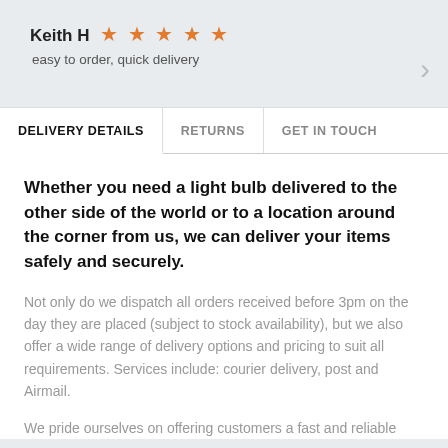Keith H ★★★★★
easy to order, quick delivery
DELIVERY DETAILS | RETURNS | GET IN TOUCH
Whether you need a light bulb delivered to the other side of the world or to a location around the corner from us, we can deliver your items safely and securely.
Not only do we dispatch all orders received before 3pm on the day they are placed (subject to stock availability), but we also offer a wide range of delivery options and pricing to suit all requirements. Services include: courier delivery, post and Airmail.
We pride ourselves on offering customers a fast and reliable